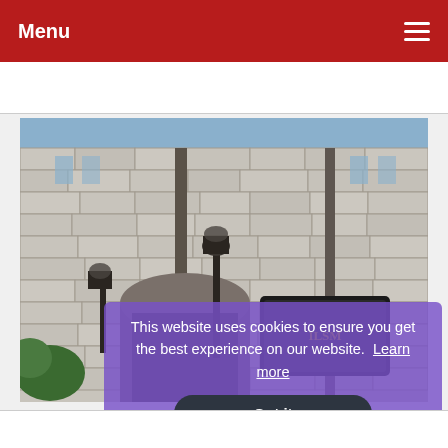Menu
[Figure (photo): Exterior photograph of a large stone/masonry institutional building with arched entrance, lamp post, and a sign visible in the foreground. Green trees partially visible at left.]
This website uses cookies to ensure you get the best experience on our website.  Learn more
Got it